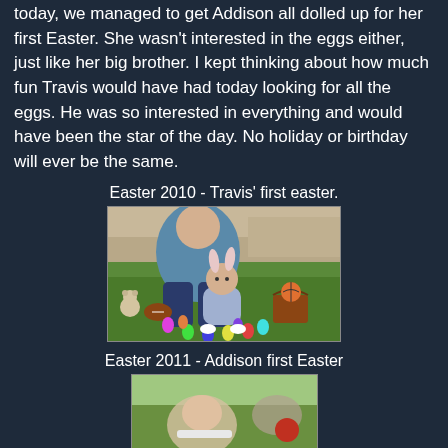today, we managed to get Addison all dolled up for her first Easter. She wasn't interested in the eggs either, just like her big brother. I kept thinking about how much fun Travis would have had today looking for all the eggs. He was so interested in everything and would have been the star of the day. No holiday or birthday will ever be the same.
Easter 2010 - Travis' first easter.
[Figure (photo): Baby in bunny ears sitting on grass surrounded by colorful Easter eggs, with an adult behind them and Easter baskets/footballs nearby]
Easter 2011 - Addison first Easter
[Figure (photo): Partial photo of Easter 2011 showing Addison's first Easter]